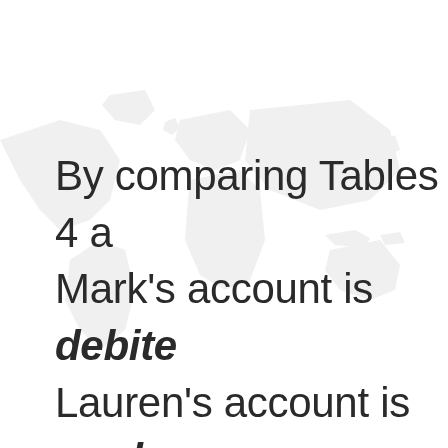By comparing Tables 4 a… Mark's account is debited… Lauren's account is cred… goes from +1000 credits… account shows that, whi… 2000, her credits go fro…